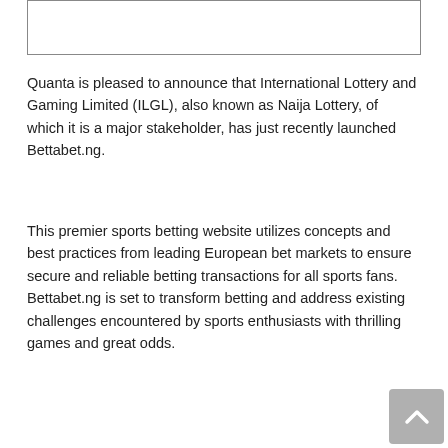[Figure (other): Empty white box with border, likely a placeholder for an image or logo]
Quanta is pleased to announce that International Lottery and Gaming Limited (ILGL), also known as Naija Lottery, of which it is a major stakeholder, has just recently launched Bettabet.ng.
This premier sports betting website utilizes concepts and best practices from leading European bet markets to ensure secure and reliable betting transactions for all sports fans.  Bettabet.ng is set to transform betting and address existing challenges encountered by sports enthusiasts with thrilling games and great odds.